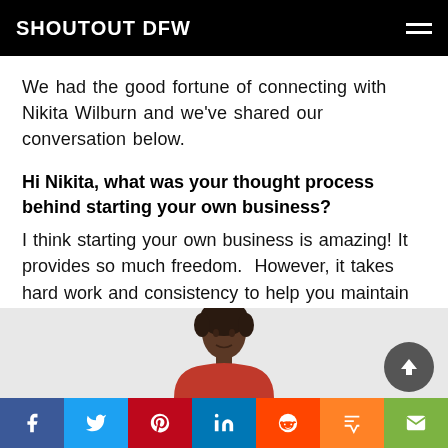SHOUTOUT DFW
We had the good fortune of connecting with Nikita Wilburn and we've shared our conversation below.
Hi Nikita, what was your thought process behind starting your own business?
I think starting your own business is amazing! It provides so much freedom.  However, it takes hard work and consistency to help you maintain it.
[Figure (photo): Photo of Nikita Wilburn partially visible at bottom of page]
Social share bar with icons: Facebook, Twitter, Pinterest, LinkedIn, Reddit, Mix, Email